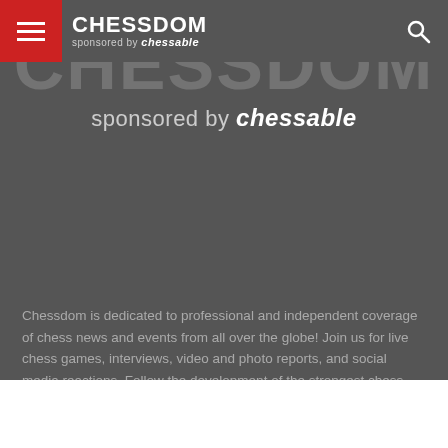CHESSDOM sponsored by chessable
[Figure (logo): Chessdom large hero logo with 'sponsored by chessable' text on dark background]
Chessdom is dedicated to professional and independent coverage of chess news and events from all over the globe! Join us for live chess games, interviews, video and photo reports, and social media reactions. Follow the development of the strongest chess software, which affects all chess today, via the Top Chess Engine Championship with its 24/7 live broadcast with chat.